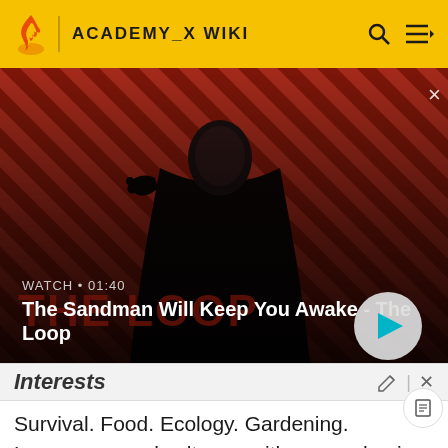ACADEMY_X WIKI
[Figure (screenshot): Video thumbnail showing a dark-cloaked figure with a raven on shoulder against a red and black diagonal striped background. Title reads 'The Sandman Will Keep You Awake - The Loop'. Watch time shown as 01:40.]
Interests
Survival. Food. Ecology. Gardening. Languages and cultures, with an emphasis on non-Western. (Although she'll probably grow addicted to one silly tv show or another, we shall see!)